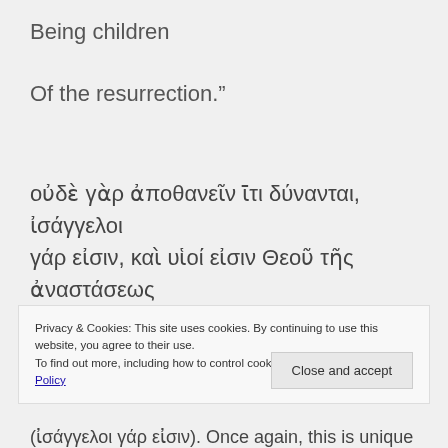Being children
Of the resurrection.”
οὐδὲ γὰρ ἀποθανεῖν ῑτι δύνανται, ἰσάγγελοι γάρ εἰσιν, καὶ υἱοί εἰσιν Θεοῦ τῆς ἀναστάσεως υἱοὶ ὄντες.
Privacy & Cookies: This site uses cookies. By continuing to use this website, you agree to their use.
To find out more, including how to control cookies, see here: Cookie Policy
Close and accept
(ἰσάγγελοι γάρ εἰσιν). Once again, this is unique